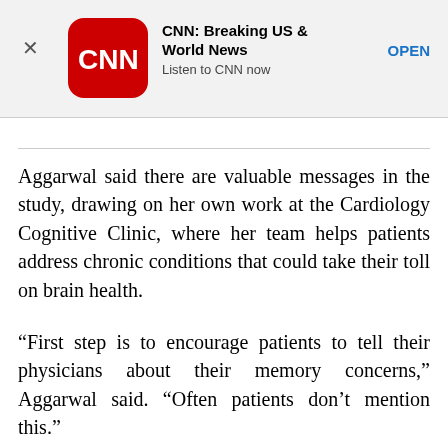[Figure (other): CNN app advertisement banner with CNN logo, title 'CNN: Breaking US & World News', subtitle 'Listen to CNN now', and an OPEN button]
Aggarwal said there are valuable messages in the study, drawing on her own work at the Cardiology Cognitive Clinic, where her team helps patients address chronic conditions that could take their toll on brain health.
“First step is to encourage patients to tell their physicians about their memory concerns,” Aggarwal said. “Often patients don’t mention this.”
She also encouraged doctors and patients to go over medications and be sure they’re taken as prescribed, to address other possible causes like mood and sleep, and to talk about lifestyle changes